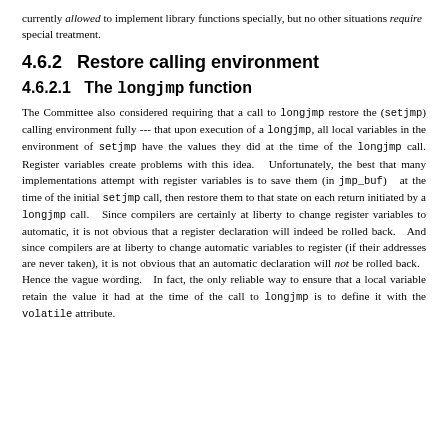currently allowed to implement library functions specially, but no other situations require special treatment.
4.6.2   Restore calling environment
4.6.2.1   The longjmp function
The Committee also considered requiring that a call to longjmp restore the (setjmp) calling environment fully --- that upon execution of a longjmp, all local variables in the environment of setjmp have the values they did at the time of the longjmp call. Register variables create problems with this idea.   Unfortunately, the best that many implementations attempt with register variables is to save them (in jmp_buf)  at the time of the initial setjmp call, then restore them to that state on each return initiated by a longjmp call.   Since compilers are certainly at liberty to change register variables to automatic, it is not obvious that a register declaration will indeed be rolled back.   And since compilers are at liberty to change automatic variables to register (if their addresses are never taken), it is not obvious that an automatic declaration will not be rolled back.   Hence the vague wording.   In fact, the only reliable way to ensure that a local variable retain the value it had at the time of the call to longjmp is to define it with the volatile attribute.